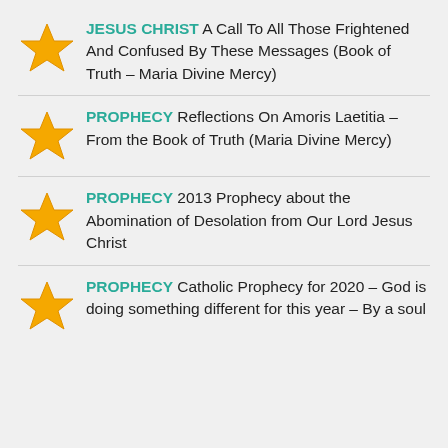JESUS CHRIST A Call To All Those Frightened And Confused By These Messages (Book of Truth – Maria Divine Mercy)
PROPHECY Reflections On Amoris Laetitia – From the Book of Truth (Maria Divine Mercy)
PROPHECY 2013 Prophecy about the Abomination of Desolation from Our Lord Jesus Christ
PROPHECY Catholic Prophecy for 2020 – God is doing something different for this year – By a soul